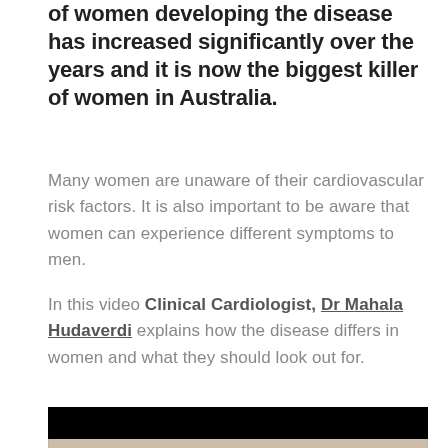of women developing the disease has increased significantly over the years and it is now the biggest killer of women in Australia.
Many women are unaware of their cardiovascular risk factors. It is also important to be aware that women can experience different symptoms to men.
In this video Clinical Cardiologist, Dr Mahala Hudaverdi explains how the disease differs in women and what they should look out for.
[Figure (photo): Video thumbnail showing two women, one with dark blonde hair in a ponytail and one with light blonde hair, appearing to look at something together. There is a red circular shape partially visible and a computer monitor in the background. A black bar appears at the top of the video frame.]